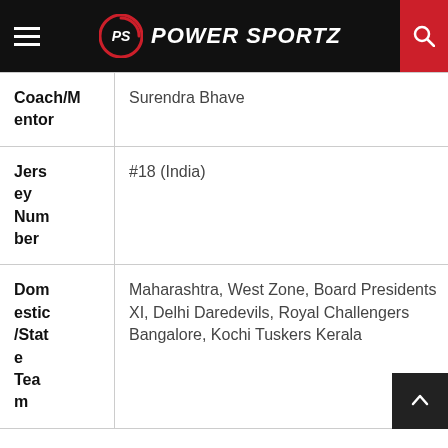PS POWER SPORTZ
| Coach/Mentor | Surendra Bhave |
| Jersey Number | #18 (India) |
| Domestic/State Team | Maharashtra, West Zone, Board Presidents XI, Delhi Daredevils, Royal Challengers Bangalore, Kochi Tuskers Kerala |